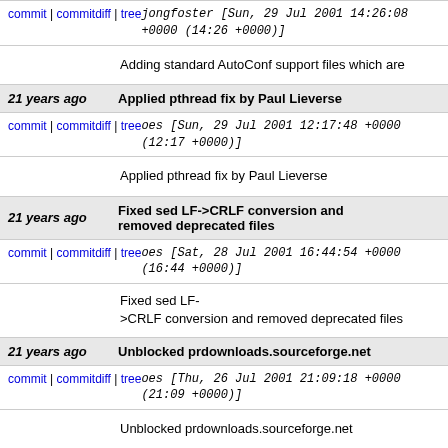commit | commitdiff | tree   jongfoster [Sun, 29 Jul 2001 14:26:08 +0000 (14:26 +0000)]
Adding standard AutoConf support files which are
21 years ago   Applied pthread fix by Paul Lieverse
commit | commitdiff | tree   oes [Sun, 29 Jul 2001 12:17:48 +0000 (12:17 +0000)]
Applied pthread fix by Paul Lieverse
21 years ago   Fixed sed LF->CRLF conversion and removed deprecated files
commit | commitdiff | tree   oes [Sat, 28 Jul 2001 16:44:54 +0000 (16:44 +0000)]
Fixed sed LF->CRLF conversion and removed deprecated files
21 years ago   Unblocked prdownloads.sourceforge.net
commit | commitdiff | tree   oes [Thu, 26 Jul 2001 21:09:18 +0000 (21:09 +0000)]
Unblocked prdownloads.sourceforge.net